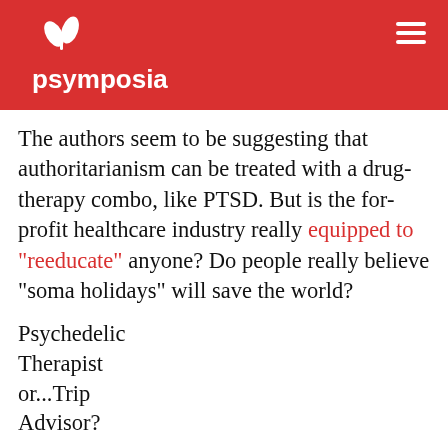psymposia
The authors seem to be suggesting that authoritarianism can be treated with a drug-therapy combo, like PTSD. But is the for-profit healthcare industry really equipped to “reeducate” anyone? Do people really believe “soma holidays” will save the world?
Psychedelic Therapist or...Trip Advisor?